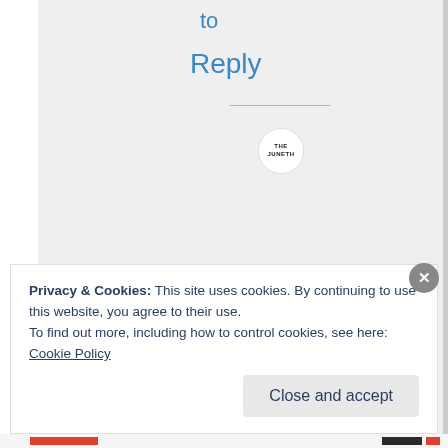to
Reply
[Figure (logo): Small circular logo with text 'THE JUNETH' in bold uppercase letters on white background]
Privacy & Cookies: This site uses cookies. By continuing to use this website, you agree to their use.
To find out more, including how to control cookies, see here: Cookie Policy
Close and accept